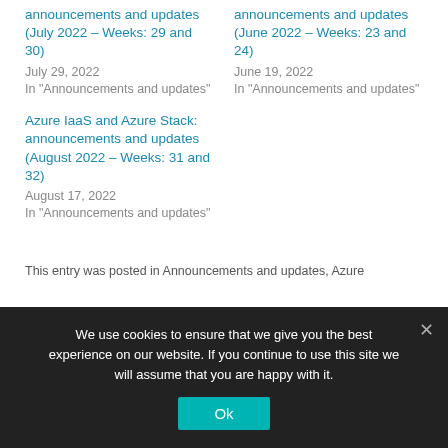announcements and updates (July 2022 – Weeks: 29 and 30)
July 29, 2022
In "Announcements and updates"
announcements and updates (June 2022 – Weeks: 23 and 24)
June 19, 2022
In "Announcements and updates"
Azure IaaS and Azure Stack: announcements and updates (August 2022 – Weeks: 31 and 32)
August 17, 2022
In "Announcements and updates"
This entry was posted in Announcements and updates, Azure
We use cookies to ensure that we give you the best experience on our website. If you continue to use this site we will assume that you are happy with it.
Ok